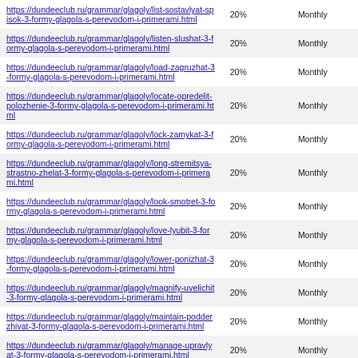| URL | Change Frequency % | Frequency |
| --- | --- | --- |
| https://dundeeclub.ru/grammar/glagoly/list-sostavlyat-spisok-3-formy-glagola-s-perevodom-i-primerami.html | 20% | Monthly |
| https://dundeeclub.ru/grammar/glagoly/listen-slushat-3-formy-glagola-s-perevodom-i-primerami.html | 20% | Monthly |
| https://dundeeclub.ru/grammar/glagoly/load-zagruzhat-3-formy-glagola-s-perevodom-i-primerami.html | 20% | Monthly |
| https://dundeeclub.ru/grammar/glagoly/locate-opredelit-polozhenie-3-formy-glagola-s-perevodom-i-primerami.html | 20% | Monthly |
| https://dundeeclub.ru/grammar/glagoly/lock-zamykat-3-formy-glagola-s-perevodom-i-primerami.html | 20% | Monthly |
| https://dundeeclub.ru/grammar/glagoly/long-stremitsya-strastno-zhelat-3-formy-glagola-s-perevodom-i-primerami.html | 20% | Monthly |
| https://dundeeclub.ru/grammar/glagoly/look-smotret-3-formy-glagola-s-perevodom-i-primerami.html | 20% | Monthly |
| https://dundeeclub.ru/grammar/glagoly/love-lyubit-3-formy-glagola-s-perevodom-i-primerami.html | 20% | Monthly |
| https://dundeeclub.ru/grammar/glagoly/lower-ponizhat-3-formy-glagola-s-perevodom-i-primerami.html | 20% | Monthly |
| https://dundeeclub.ru/grammar/glagoly/magnify-uvelichit-3-formy-glagola-s-perevodom-i-primerami.html | 20% | Monthly |
| https://dundeeclub.ru/grammar/glagoly/maintain-podderzhivat-3-formy-glagola-s-perevodom-i-primerami.html | 20% | Monthly |
| https://dundeeclub.ru/grammar/glagoly/manage-upravlyat-3-formy-glagola-s-perevodom-i-primerami.html | 20% | Monthly |